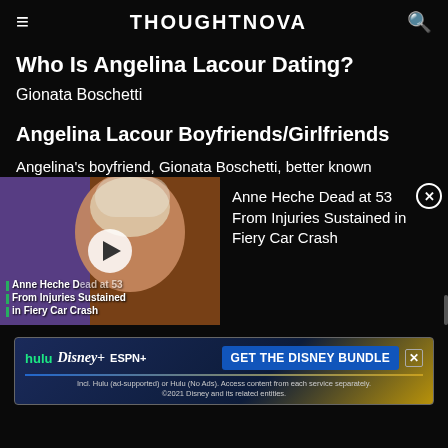THOUGHTNOVA
Who Is Angelina Lacour Dating?
Gionata Boschetti
Angelina Lacour Boyfriends/Girlfriends
Angelina's boyfriend, Gionata Boschetti, better known
[Figure (screenshot): Video thumbnail showing a person with a head bandage, with overlay text: Anne Heche Dead at 53 From Injuries Sustained in Fiery Car Crash, and a play button]
Anne Heche Dead at 53 From Injuries Sustained in Fiery Car Crash
[Figure (advertisement): Disney Bundle advertisement with Hulu, Disney+, ESPN+ logos and GET THE DISNEY BUNDLE button. Fine print: Incl. Hulu (ad-supported) or Hulu (No Ads). Access content from each service separately. ©2021 Disney and its related entities.]